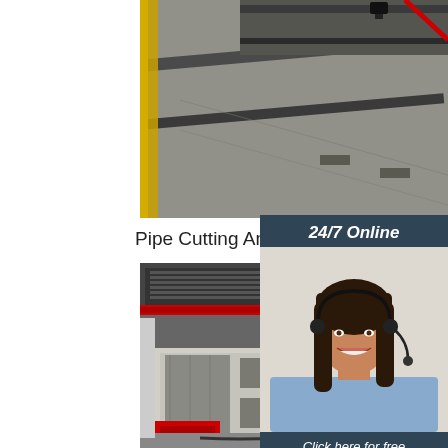[Figure (photo): Industrial photo showing overhead crane rails and track on a concrete floor in a factory/workshop setting]
Pipe Cutting And Beveling Worksta
[Figure (photo): Photo of a large pipe cutting and beveling workstation machine in a factory, with red crane structure overhead, white machine housing, and red end-facing unit. Industrial rail tracks visible on floor.]
[Figure (photo): Customer service representative wearing headset, smiling, with 24/7 Online label and chat/quotation call-to-action sidebar]
24/7 Online
Click here for free chat !
QUOTATION